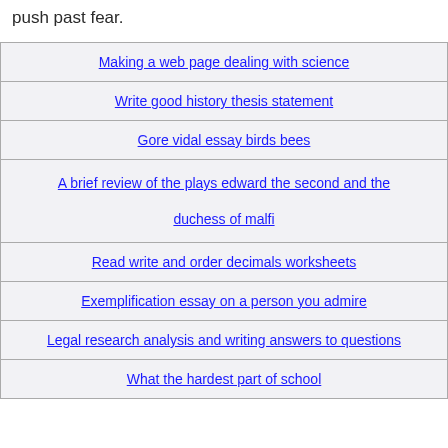push past fear.
| Making a web page dealing with science |
| Write good history thesis statement |
| Gore vidal essay birds bees |
| A brief review of the plays edward the second and the duchess of malfi |
| Read write and order decimals worksheets |
| Exemplification essay on a person you admire |
| Legal research analysis and writing answers to questions |
| What the hardest part of school |